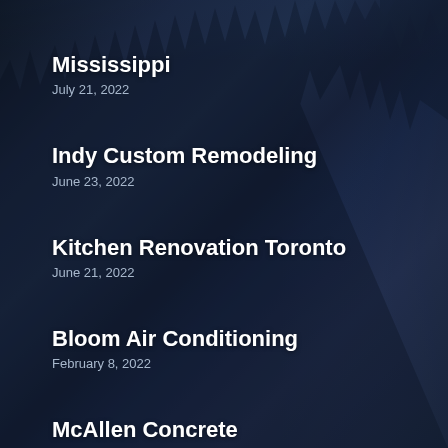Mississippi
July 21, 2022
Indy Custom Remodeling
June 23, 2022
Kitchen Renovation Toronto
June 21, 2022
Bloom Air Conditioning
February 8, 2022
McAllen Concrete
July 21, 2022